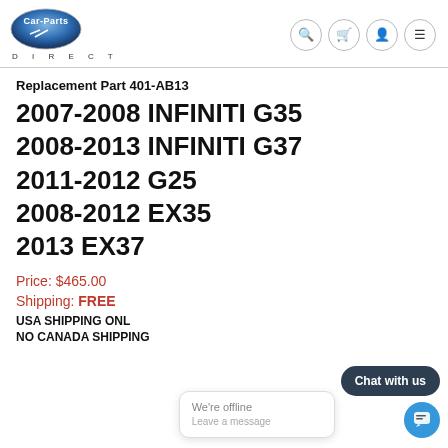[Figure (logo): Car-Parts Direct logo with blue oval and DIRECT text below]
Replacement Part 401-AB13
2007-2008 INFINITI G35
2008-2013 INFINITI G37
2011-2012 G25
2008-2012 EX35
2013 EX37
Price: $465.00
Shipping: FREE
USA SHIPPING ONL
NO CANADA SHIPPING